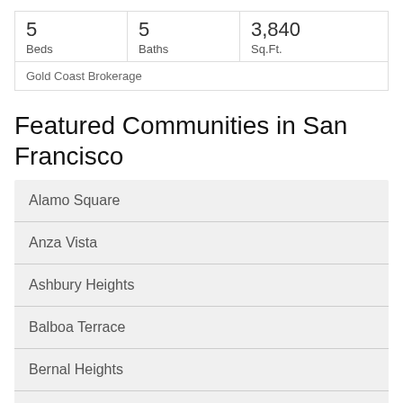| Beds | Baths | Sq.Ft. |
| --- | --- | --- |
| 5 | 5 | 3,840 |
Gold Coast Brokerage
Featured Communities in San Francisco
Alamo Square
Anza Vista
Ashbury Heights
Balboa Terrace
Bernal Heights
Buena Vista
Central Waterfront